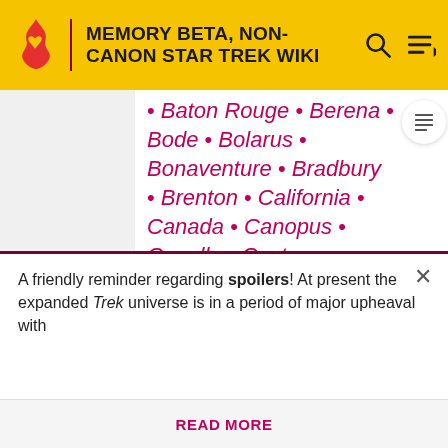MEMORY BETA, NON-CANON STAR TREK WIKI
• Baton Rouge • Berena • Bode • Bolarus • Bonaventure • Bradbury • Brenton • California • Canada • Canopus • Capella • Castor • Centaur • Centaurus • Ceres • Cestus • Challenger • Chandley • Chariot • Chimer • Chimera fast frigate •
A friendly reminder regarding spoilers! At present the expanded Trek universe is in a period of major upheaval with
READ MORE